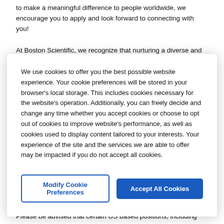to make a meaningful difference to people worldwide, we encourage you to apply and look forward to connecting with you!
At Boston Scientific, we recognize that nurturing a diverse and inclusive workpl...
We use cookies to offer you the best possible website experience. Your cookie preferences will be stored in your browser's local storage. This includes cookies necessary for the website's operation. Additionally, you can freely decide and change any time whether you accept cookies or choose to opt out of cookies to improve website's performance, as well as cookies used to display content tailored to your interests. Your experience of the site and the services we are able to offer may be impacted if you do not accept all cookies.
Modify Cookie Preferences
Accept All Cookies
Please be advised that certain US based positions, including